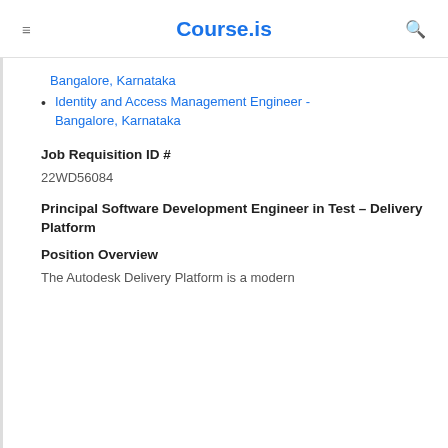Course.is
Bangalore, Karnataka
Identity and Access Management Engineer - Bangalore, Karnataka
Job Requisition ID #
22WD56084
Principal Software Development Engineer in Test – Delivery Platform
Position Overview
The Autodesk Delivery Platform is a modern